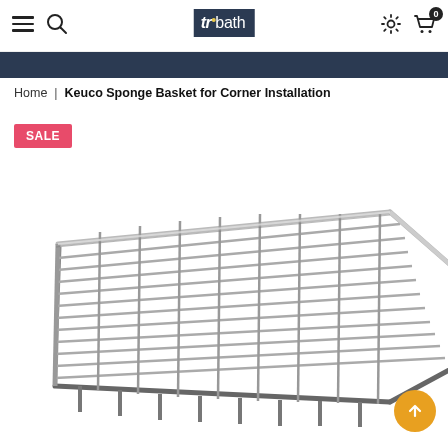trubath — navigation with hamburger, search, logo, settings, and cart (0 items)
Home | Keuco Sponge Basket for Corner Installation
SALE
[Figure (photo): Chrome triangular corner sponge basket with wire grid pattern, viewed from above at an angle, showing the metallic finish and corner mounting design.]